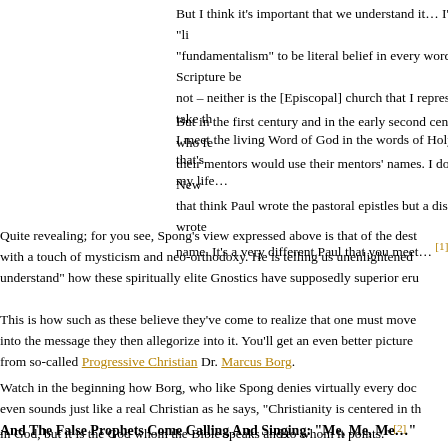But I think it's important that we understand it… I'm not a biblical "li "fundamentalism" to be literal belief in every word of the Scripture be not – neither is the [Episcopal] church that I represent. But I do take th I meet the living Word of God in the words of Holy Scripture – that's my life…
But in the first century and in the early second century, authors who fe their mentors would use their mentors' names. I don't know any New that think Paul wrote the pastoral epistles but a disciple of Paul wrote name. It's a very different Paul that you meet… [1]
Quite revealing; for you see, Spong's view expressed above is that of the dest with a touch of mysticism and neo-orthodoxy. He is telling us unenlightened understand" how these spiritually elite Gnostics have supposedly superior eru
This is how such as these believe they've come to realize that one must move into the message they then allegorize into it. You'll get an even better picture from so-called Progressive Christian Dr. Marcus Borg.
Watch in the beginning how Borg, who like Spong denies virtually every doc even sounds just like a real Christian as he says, "Christianity is centered in th in God, but it is the God whom the Bible speaks and to whom it points." [2]
And The False Prophets Come Calling And Singing: “Me, Me, Me…”